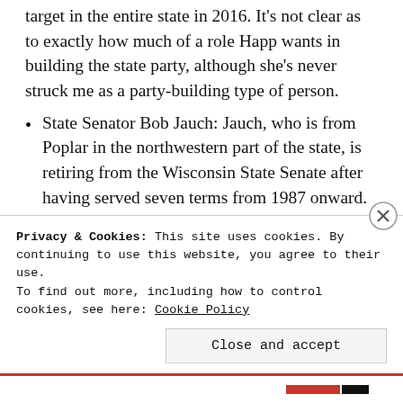target in the entire state in 2016. It's not clear as to exactly how much of a role Happ wants in building the state party, although she's never struck me as a party-building type of person.
State Senator Bob Jauch: Jauch, who is from Poplar in the northwestern part of the state, is retiring from the Wisconsin State Senate after having served seven terms from 1987 onward. Jauch may have some limited influence over the Democratic Party in the northern part of the state, but that would be it.
State Assembly Assistant Minority Leader-designate Katrina Shankland: Shankland, who is from Stevens Point, is from one of the most competitive areas in the state and...
Privacy & Cookies: This site uses cookies. By continuing to use this website, you agree to their use.
To find out more, including how to control cookies, see here: Cookie Policy
Close and accept